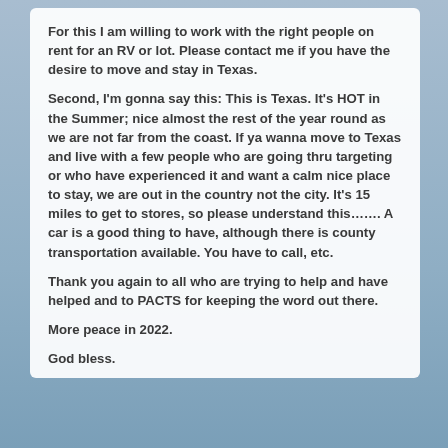For this I am willing to work with the right people on rent for an RV or lot.  Please contact me if you have the desire to move and stay in Texas.
Second, I'm gonna say this:  This is Texas.  It's HOT in the Summer; nice almost the rest of the year round as we are not far from the coast.  If ya wanna move to Texas and live with a few people who are going thru targeting or who have experienced it and want a calm nice place to stay,  we are out in the country not the city.  It's 15 miles to get to stores, so please understand this……. A car is a good thing to have, although there is county transportation available. You have to call, etc.
Thank you again to all who are trying to help and have helped and to PACTS for keeping the word out there.
More peace in 2022.
God bless.